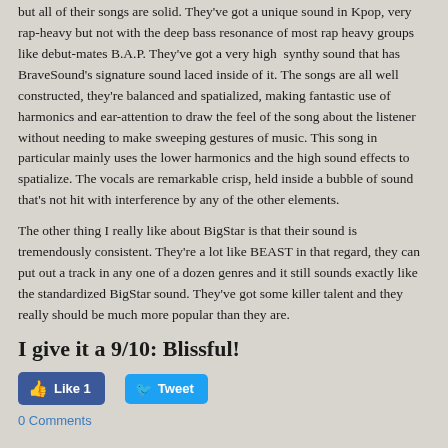but all of their songs are solid. They've got a unique sound in Kpop, very rap-heavy but not with the deep bass resonance of most rap heavy groups like debut-mates B.A.P. They've got a very high synthy sound that has BraveSound's signature sound laced inside of it. The songs are all well constructed, they're balanced and spatialized, making fantastic use of harmonics and ear-attention to draw the feel of the song about the listener without needing to make sweeping gestures of music. This song in particular mainly uses the lower harmonics and the high sound effects to spatialize. The vocals are remarkable crisp, held inside a bubble of sound that's not hit with interference by any of the other elements.
The other thing I really like about BigStar is that their sound is tremendously consistent. They're a lot like BEAST in that regard, they can put out a track in any one of a dozen genres and it still sounds exactly like the standardized BigStar sound. They've got some killer talent and they really should be much more popular than they are.
I give it a 9/10: Blissful!
Like 1   Tweet
0 Comments